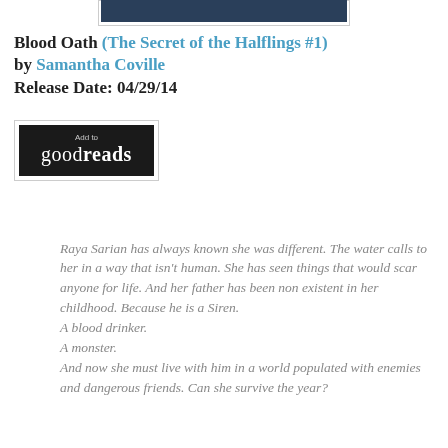[Figure (photo): Partial book cover image shown at top, dark blue/teal toned]
Blood Oath (The Secret of the Halflings #1) by Samantha Coville
Release Date: 04/29/14
[Figure (other): Add to Goodreads button - black button with 'Add to goodreads' text]
Raya Sarian has always known she was different. The water calls to her in a way that isn't human. She has seen things that would scar anyone for life. And her father has been non existent in her childhood. Because he is a Siren. A blood drinker. A monster. And now she must live with him in a world populated with enemies and dangerous friends. Can she survive the year?